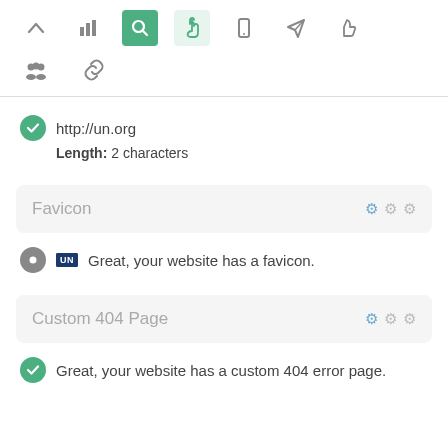[Figure (screenshot): Toolbar row with icons: up arrow, bar chart, search (active green), hand/cursor (active light green), mobile, send/rocket, thumbs up]
[Figure (screenshot): Second toolbar row with icons: people/group, chain/link]
http://un.org
Length: 2 characters
Favicon
Great, your website has a favicon.
Custom 404 Page
Great, your website has a custom 404 error page.